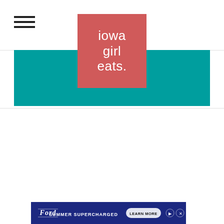[Figure (logo): Iowa Girl Eats logo — pink/salmon square with white lowercase text reading 'iowa girl eats.']
[Figure (infographic): Teal fitness banner with text '25 seconds: bur... 20 seconds: flyi...' and 'Repeat 2 to 3 times' on left and 'fitfabcities.com' on right]
[Figure (infographic): Ford Summer Supercharged advertisement banner in dark navy blue with Ford oval logo, text 'SUMMER SUPERCHARGED' and 'LEARN MORE' button]